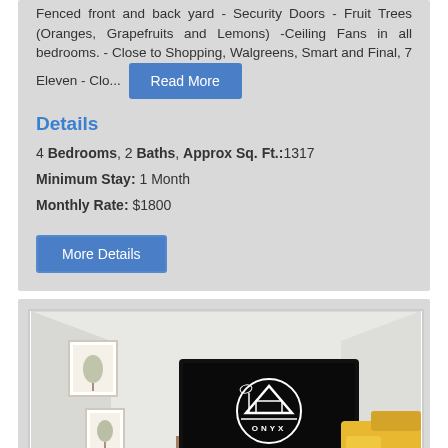Fenced front and back yard - Security Doors - Fruit Trees (Oranges, Grapefruits and Lemons) -Ceiling Fans in all bedrooms. - Close to Shopping, Walgreens, Smart and Final, 7 Eleven - Clo... Read More
Details
4 Bedrooms, 2 Baths, Approx Sq. Ft.:1317
Minimum Stay: 1 Month
Monthly Rate: $1800
[Figure (photo): Interior room photo showing a living room with white walls, artwork on the wall, a large black TV on a wooden stand displaying the ONYX logo, and a yellow sofa partially visible. A LIVE CHAT button overlay appears in the bottom right corner.]